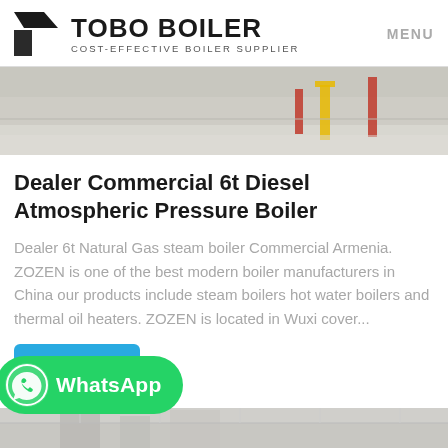TOBO BOILER — COST-EFFECTIVE BOILER SUPPLIER | MENU
[Figure (photo): Interior industrial facility with colored pipe stands on a polished floor — top image]
Dealer Commercial 6t Diesel Atmospheric Pressure Boiler
Dealer 6t Natural Gas steam boiler Commercial Armenia. ZOZEN is one of the best modern boiler manufacturers in China our products include steam boilers hot water boilers and thermal oil heaters. ZOZEN is located in Wuxi cover...
[Figure (screenshot): WhatsApp contact button overlay in green]
[Figure (photo): Bottom partial photo of industrial boiler facility]